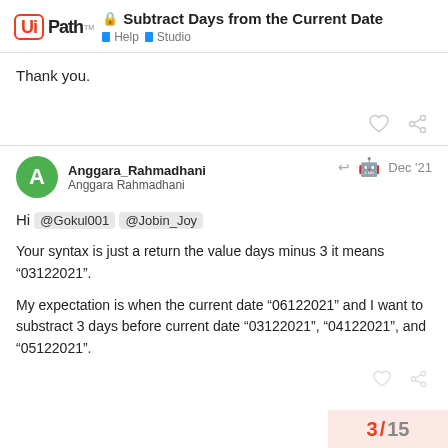UiPath | Subtract Days from the Current Date | Help | Studio
Thank you.
Anggara_Rahmadhani
Anggara Rahmadhani
Dec '21

Hi @Gokul001 @Jobin_Joy

Your syntax is just a return the value days minus 3 it means “03122021”.

My expectation is when the current date “06122021” and I want to substract 3 days before current date “03122021”, “04122021”, and “05122021”.
3 / 15